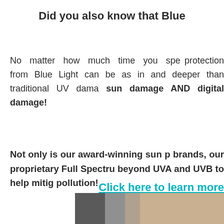Did you also know that Blue
No matter how much time you spe protection from Blue Light can be as in and deeper than traditional UV dama sun damage AND digital damage!
Not only is our award-winning sun p brands, our proprietary Full Spectru beyond UVA and UVB to help mitig pollution!
Click here to learn more our Full Spect
[Figure (photo): Partial photo visible at bottom of page showing people or products]